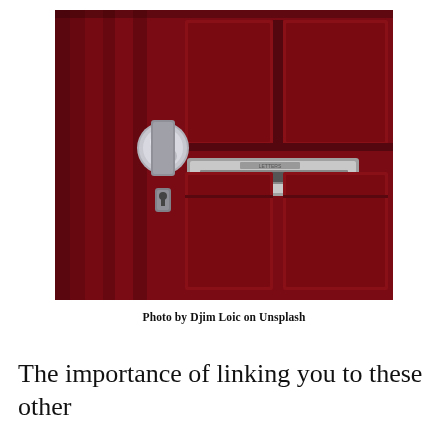[Figure (photo): Close-up photograph of a dark red wooden front door with vertical panels, a silver door knob and lock on the left side, and a silver mail slot/letter box in the center.]
Photo by Djim Loic on Unsplash
The importance of linking you to these other